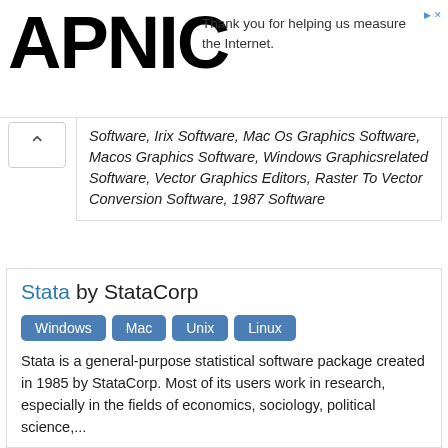APNIC
Thank you for helping us measure the Internet.
Software, Irix Software, Mac Os Graphics Software, Macos Graphics Software, Windows Graphicsrelated Software, Vector Graphics Editors, Raster To Vector Conversion Software, 1987 Software
Stata by StataCorp
Windows Mac Unix Linux
Stata is a general-purpose statistical software package created in 1985 by StataCorp. Most of its users work in research, especially in the fields of economics, sociology, political science,...
Latest version of Stata is 15.0 and it was released on 2017-06-06.
Tags: 1985 Software, C Software, Proprietary